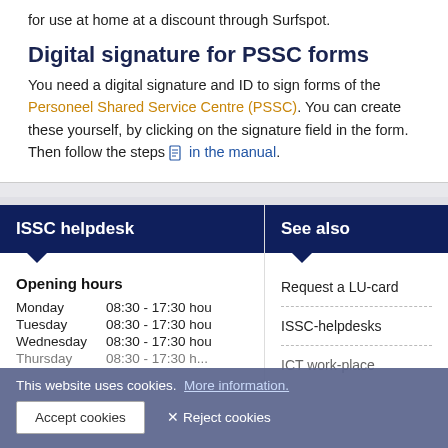for use at home at a discount through Surfspot.
Digital signature for PSSC forms
You need a digital signature and ID to sign forms of the Personeel Shared Service Centre (PSSC). You can create these yourself, by clicking on the signature field in the form. Then follow the steps in the manual.
ISSC helpdesk
See also
Opening hours
Monday      08:30  - 17:30 hou
Tuesday     08:30  - 17:30 hou
Wednesday  08:30  - 17:30 hou
Thursday   08:30  - 17:30 h...
Request a LU-card
ISSC-helpdesks
ICT work-place
This website uses cookies.  More information.
Accept cookies
✕ Reject cookies